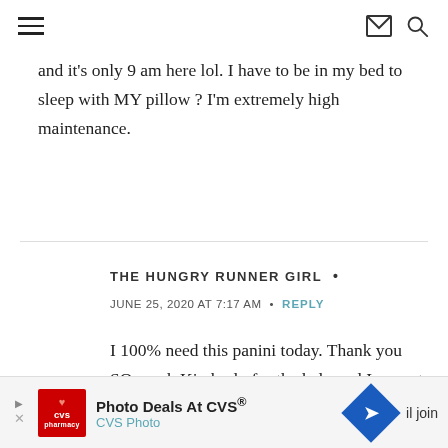[hamburger menu] [envelope icon] [search icon]
and it’s only 9 am here lol. I have to be in my bed to sleep with MY pillow ? I’m extremely high maintenance.
THE HUNGRY RUNNER GIRL •
JUNE 25, 2020 AT 7:17 AM • REPLY
I 100% need this panini today. Thank you SO much Kimberly for the help and I cannot wait… I
[Figure (infographic): CVS Photo advertisement banner at the bottom of the page: CVS pharmacy logo, 'Photo Deals At CVS®', 'CVS Photo' subtitle, blue navigation arrow diamond icon, and partial text 'il join']